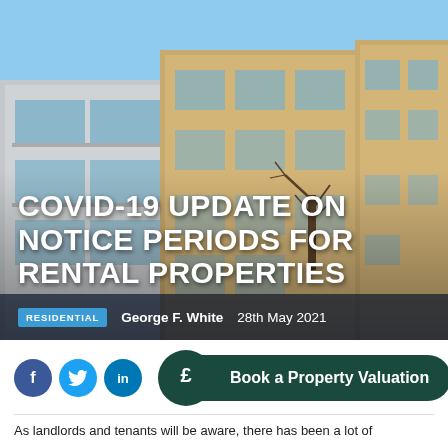[Figure (photo): Exterior photograph of modern apartment buildings with blue sky. Multi-storey residential blocks with balconies and large windows, bare tree in foreground, car park area visible.]
COVID-19 UPDATE ON NOTICE PERIODS FOR RENTAL PROPERTIES
RESIDENTIAL   George F. White   28th May 2021
[Figure (other): Social media icons: Facebook (f), Twitter (bird), LinkedIn (in) circles, plus a dark green pound sign speech bubble circle and a 'Book a Property Valuation' dark green pill button]
As landlords and tenants will be aware, there has been a lot of